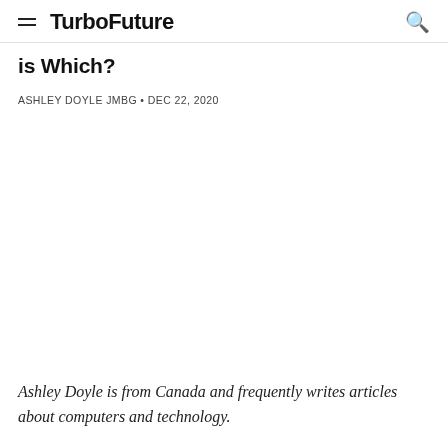TurboFuture
is Which?
ASHLEY DOYLE JMBG • DEC 22, 2020
Ashley Doyle is from Canada and frequently writes articles about computers and technology.